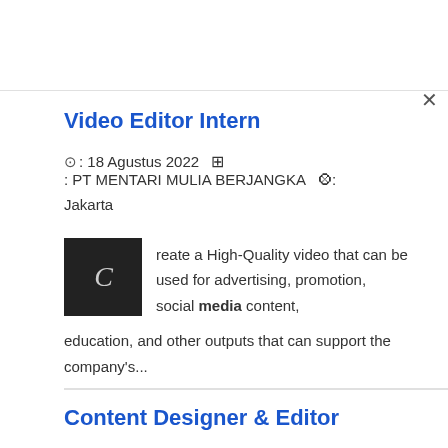Video Editor Intern
🕐 : 18 Agustus 2022  🏢 : PT MENTARI MULIA BERJANGKA  📍 : Jakarta
reate a High-Quality video that can be used for advertising, promotion, social media content, education, and other outputs that can support the company's...
Content Designer & Editor